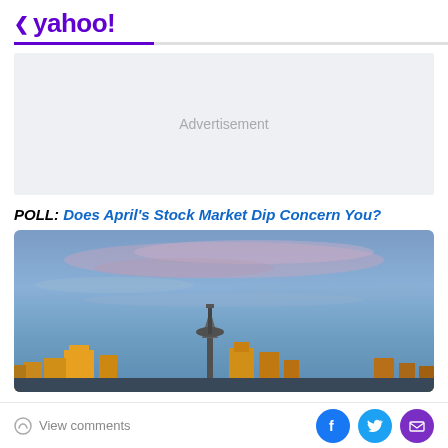< yahoo!
[Figure (other): Advertisement placeholder box with light gray background]
POLL: Does April's Stock Market Dip Concern You?
[Figure (photo): City skyline photo showing Seattle Space Needle against a blue and purple sunset sky]
View comments | Facebook share | Twitter share | Email share